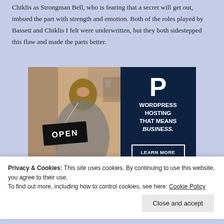Chiklis as Strongman Bell, who is fearing that a secret will get out, imbued the part with strength and emotion. Both of the roles played by Bassett and Chiklis I felt were underwritten, but they both sidestepped this flaw and made the parts better.
[Figure (infographic): Advertisement image showing a woman holding an OPEN sign on the left, and on the right a dark navy panel with a large 'P' logo and the text 'WORDPRESS HOSTING THAT MEANS BUSINESS.' with a 'LEARN MORE' button.]
Privacy & Cookies: This site uses cookies. By continuing to use this website, you agree to their use.
To find out more, including how to control cookies, see here: Cookie Policy
Close and accept